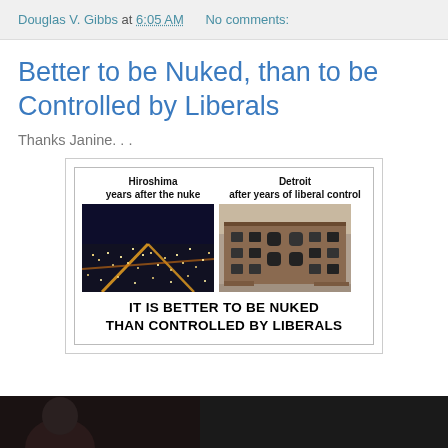Douglas V. Gibbs at 6:05 AM   No comments:
Better to be Nuked, than to be Controlled by Liberals
Thanks Janine. . .
[Figure (infographic): Meme image comparing Hiroshima years after the nuke (showing a modern thriving city at night) with Detroit after years of liberal control (showing a ruined, abandoned building). Text reads: IT IS BETTER TO BE NUKED THAN CONTROLLED BY LIBERALS]
[Figure (photo): Partial bottom image, dark background, appears to show a person]